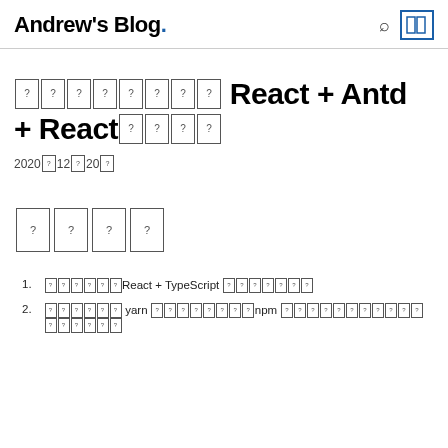Andrew's Blog.
??? ??? React + Antd + React ??? ???
2020???12???20???
??? ??? ??? ???
1. ??????React + TypeScript ???????
2. ?????? yarn ????????npm ?????????????????????